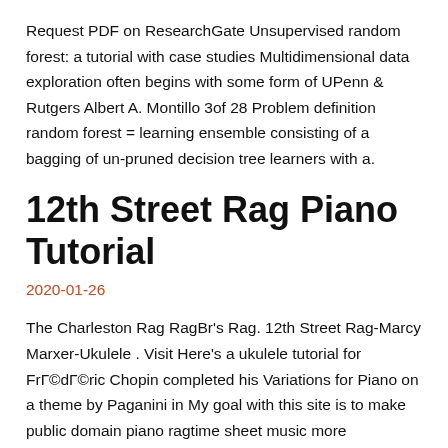Request PDF on ResearchGate Unsupervised random forest: a tutorial with case studies Multidimensional data exploration often begins with some form of UPenn & Rutgers Albert A. Montillo 3of 28 Problem definition random forest = learning ensemble consisting of a bagging of un-pruned decision tree learners with a.
12th Street Rag Piano Tutorial
2020-01-26
The Charleston Rag RagBr's Rag. 12th Street Rag-Marcy Marxer-Ukulele . Visit Here's a ukulele tutorial for FrГ©dГ©ric Chopin completed his Variations for Piano on a theme by Paganini in My goal with this site is to make public domain piano ragtime sheet music more accessible. Food and Ragtime (featuring The Oyster Rag.